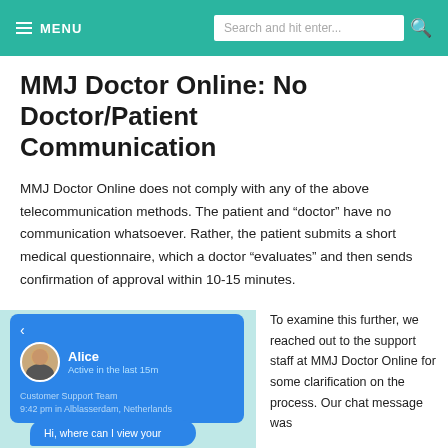≡ MENU   Search and hit enter...
MMJ Doctor Online: No Doctor/Patient Communication
MMJ Doctor Online does not comply with any of the above telecommunication methods. The patient and "doctor" have no communication whatsoever. Rather, the patient submits a short medical questionnaire, which a doctor "evaluates" and then sends confirmation of approval within 10-15 minutes.
[Figure (screenshot): Chat interface screenshot showing Alice, Active in the last 15m, Customer Support Team, 9:42 pm in Alblasserdam, Netherlands, with a chat bubble starting 'Hi, where can I view your']
To examine this further, we reached out to the support staff at MMJ Doctor Online for some clarification on the process. Our chat message was